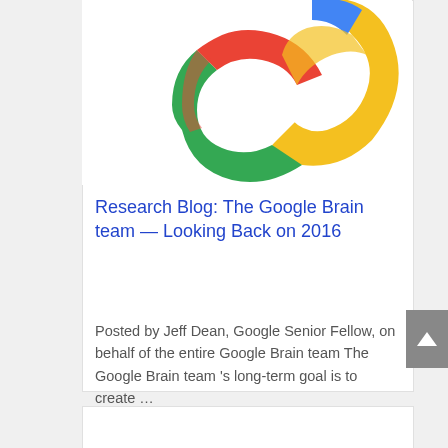[Figure (logo): Google logo / interlocking colored ribbons — red, blue, green, yellow on white background]
Research Blog: The Google Brain team — Looking Back on 2016
Posted by Jeff Dean, Google Senior Fellow, on behalf of the entire Google Brain team The Google Brain team 's long-term goal is to create …